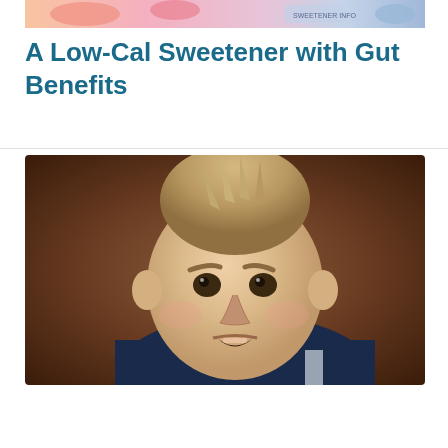[Figure (photo): Colorful banner image at top of first article card]
A Low-Cal Sweetener with Gut Benefits
[Figure (photo): Close-up photo of a young blonde boy with an angry/frustrated facial expression, wearing a navy blue shirt, against a brown background]
Help Kids Cope with Impulsivity ASAP